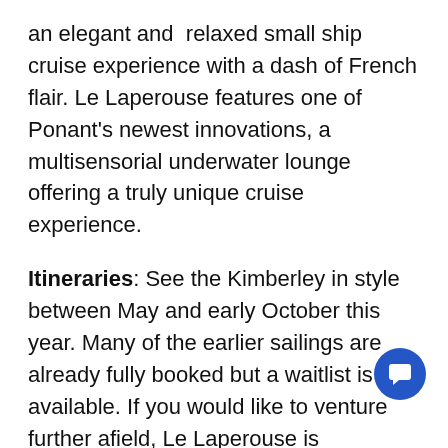an elegant and relaxed small ship cruise experience with a dash of French flair. Le Laperouse features one of Ponant's newest innovations, a multisensorial underwater lounge offering a truly unique cruise experience.
Itineraries: See the Kimberley in style between May and early October this year. Many of the earlier sailings are already fully booked but a waitlist is available. If you would like to venture further afield, Le Laperouse is scheduled to make a side trip to Bali in September.